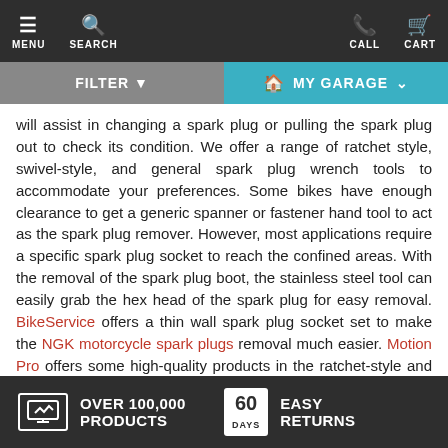MENU | SEARCH | CALL | CART
FILTER | MY GARAGE
will assist in changing a spark plug or pulling the spark plug out to check its condition. We offer a range of ratchet style, swivel-style, and general spark plug wrench tools to accommodate your preferences. Some bikes have enough clearance to get a generic spanner or fastener hand tool to act as the spark plug remover. However, most applications require a specific spark plug socket to reach the confined areas. With the removal of the spark plug boot, the stainless steel tool can easily grab the hex head of the spark plug for easy removal. BikeService offers a thin wall spark plug socket set to make the NGK motorcycle spark plugs removal much easier. Motion Pro offers some high-quality products in the ratchet-style and wrench style depending on the preference you have for your tool kit. For additional information be sure to check out what we keep in stock on the website!
OVER 100,000 PRODUCTS | 60 DAYS EASY RETURNS